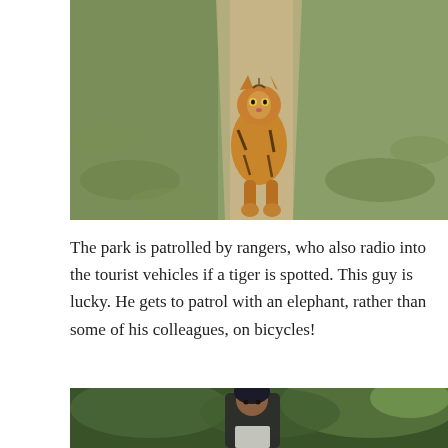[Figure (photo): A tiger walking toward the camera on a dirt path in a wildlife park, with grassy vegetation on both sides.]
The park is patrolled by rangers, who also radio into the tourist vehicles if a tiger is spotted. This guy is lucky. He gets to patrol with an elephant, rather than some of his colleagues, on bicycles!
[Figure (photo): A man wearing a dark beanie hat in a green forested area, partially visible at the bottom of the page.]